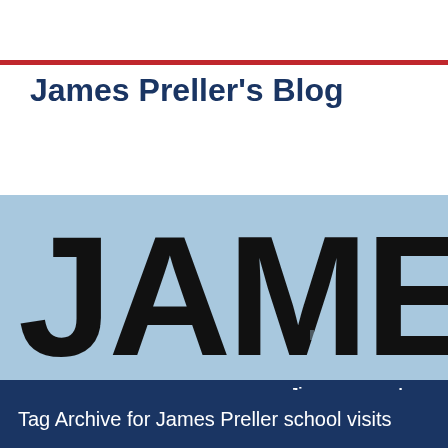James Preller's Blog
[Figure (illustration): Blog header banner showing 'JAMES P' text in large distressed black letters on a light blue background, partially cropped]
Bio | Books | Contact/Zoom | Jigsaw Jones | Love Y...
Tag Archive for James Preller school visits